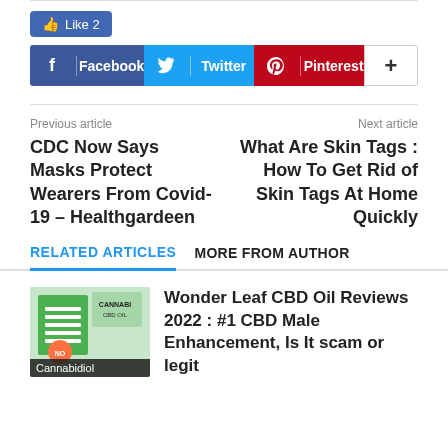[Figure (screenshot): Facebook Like button showing count of 2]
[Figure (screenshot): Social sharing buttons row: Facebook, Twitter, Pinterest, plus button]
Previous article
Next article
CDC Now Says Masks Protect Wearers From Covid-19 – Healthgardeen
What Are Skin Tags : How To Get Rid of Skin Tags At Home Quickly
RELATED ARTICLES   MORE FROM AUTHOR
Wonder Leaf CBD Oil Reviews 2022 : #1 CBD Male Enhancement, Is It scam or legit